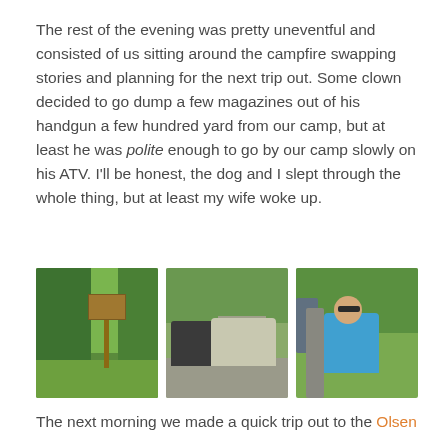The rest of the evening was pretty uneventful and consisted of us sitting around the campfire swapping stories and planning for the next trip out. Some clown decided to go dump a few magazines out of his handgun a few hundred yard from our camp, but at least he was polite enough to go by our camp slowly on his ATV. I'll be honest, the dog and I slept through the whole thing, but at least my wife woke up.
[Figure (photo): Three outdoor photographs side by side: (1) a forest scene with a sign/post in greenery, (2) two SUV/truck vehicles parked on a gravel area with trees in background, (3) a bald man wearing sunglasses sitting in a vehicle door/window.]
The next morning we made a quick trip out to the Olsen